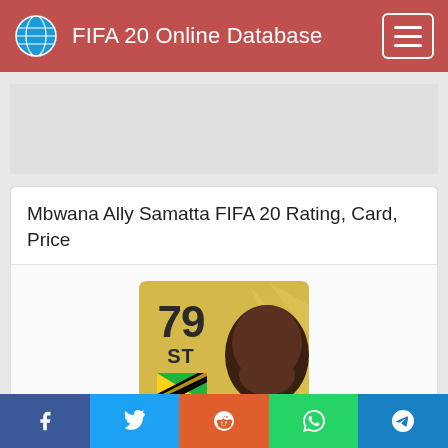FIFA 20 Online Database
Mbwana Ally Samatta FIFA 20 Rating, Card, Price
[Figure (illustration): FIFA 20 Ultimate Team player card for Mbwana Ally Samatta: gold card with rating 79, position ST, Tanzania flag shown, player face visible]
Social share buttons: Facebook, Twitter, Reddit, WhatsApp, Telegram